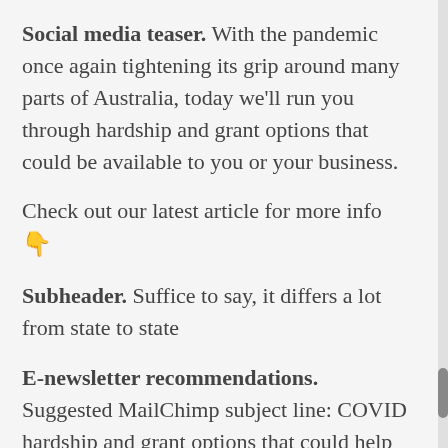Social media teaser. With the pandemic once again tightening its grip around many parts of Australia, today we'll run you through hardship and grant options that could be available to you or your business.
Check out our latest article for more info 👇
Subheader. Suffice to say, it differs a lot from state to state
E-newsletter recommendations. Suggested MailChimp subject line: COVID hardship and grant options that could help you Suggested MailChimp preview text: With the pandemic once again tightening its grip around many parts of Australia, today we'll run you